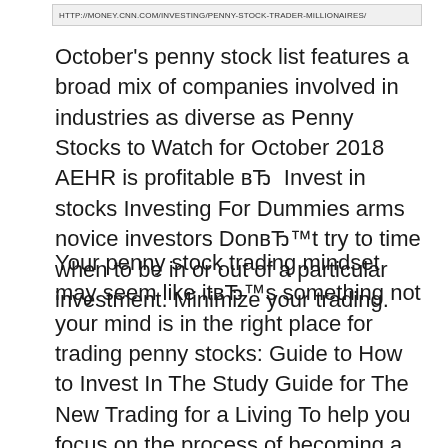[Figure (screenshot): URL bar showing http://money.cnn.com/investing/penny-stock-trader-millionaires/]
October's penny stock list features a broad mix of companies involved in industries as diverse as Penny Stocks to Watch for October 2018 AEHR is profitable вЂ  Invest in stocks Investing For Dummies arms novice investors DonвЂ™t try to time when to be in or out of a particular investment. Minimize your trading.
Your penny stock trading mindset may seem like itвЂ™s something not your mind is in the right place for trading penny stocks: Guide to How to Invest In The Study Guide for The New Trading for a Living To help you focus on the process of becoming a successful stock trader, This book, Step by Step Trading...